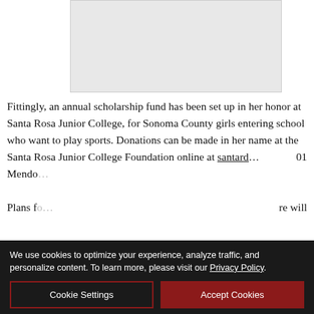[Figure (photo): Gray placeholder image box at top of page]
Fittingly, an annual scholarship fund has been set up in her honor at Santa Rosa Junior College, for Sonoma County girls entering school who want to play sports. Donations can be made in her name at the Santa Rosa Junior College Foundation online at santaro...01 Mendo... Plans fo...re will
[Figure (other): La-Z-Boy Labor Day Sale advertisement banner: UP TO 20% OFF STOREWIDE PLUS 0% INTEREST UNTIL JANUARY 2027, with Click For Details button]
We use cookies to optimize your experience, analyze traffic, and personalize content. To learn more, please visit our Privacy Policy.
Cookie Settings
Accept Cookies